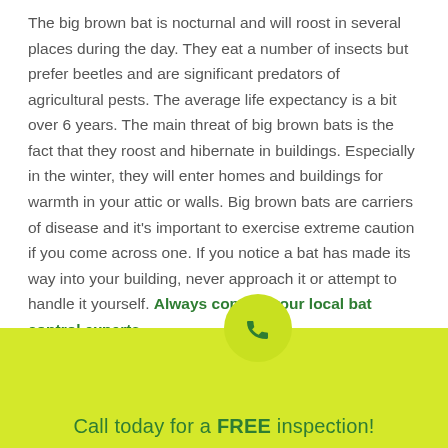The big brown bat is nocturnal and will roost in several places during the day. They eat a number of insects but prefer beetles and are significant predators of agricultural pests. The average life expectancy is a bit over 6 years. The main threat of big brown bats is the fact that they roost and hibernate in buildings. Especially in the winter, they will enter homes and buildings for warmth in your attic or walls. Big brown bats are carriers of disease and it's important to exercise extreme caution if you come across one. If you notice a bat has made its way into your building, never approach it or attempt to handle it yourself. Always contact your local bat control experts.
[Figure (other): Yellow-green circular button with a phone handset icon in dark green]
Call today for a FREE inspection!